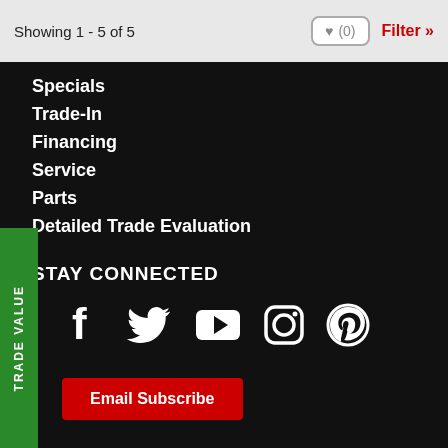Showing 1 - 5 of 5
♥ (0)
Filter »
Specials
Trade-In
Financing
Service
Parts
Detailed Trade Evaluation
STAY CONNECTED
[Figure (infographic): Social media icons: Facebook, Twitter, YouTube, Instagram, Pinterest]
Email Subscribe
TRADE VALUE